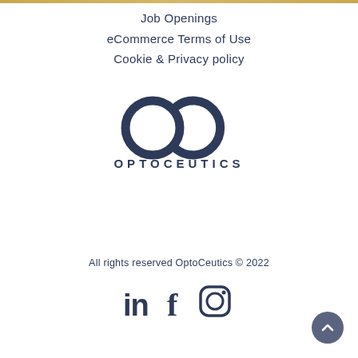Job Openings
eCommerce Terms of Use
Cookie & Privacy policy
[Figure (logo): OptoCeutics logo: stylized OC monogram above the text OPTOCEUTICS in dark navy]
All rights reserved OptoCeutics © 2022
[Figure (infographic): Social media icons: LinkedIn, Facebook, Instagram in dark navy]